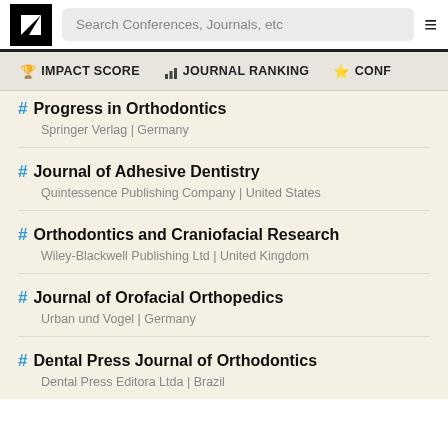Search Conferences, Journals, etc
IMPACT SCORE | JOURNAL RANKING | CONF
Progress in Orthodontics
Springer Verlag | Germany
Journal of Adhesive Dentistry
Quintessence Publishing Company | United States
Orthodontics and Craniofacial Research
Wiley-Blackwell Publishing Ltd | United Kingdom
Journal of Orofacial Orthopedics
Urban und Vogel | Germany
Dental Press Journal of Orthodontics
Dental Press Editora Ltda | Brazil